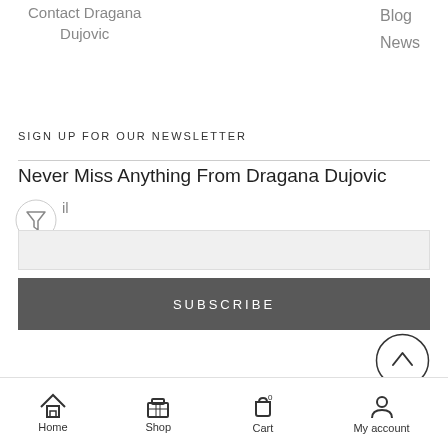Contact Dragana Dujovic
Blog
News
SIGN UP FOR OUR NEWSLETTER
Never Miss Anything From Dragana Dujovic
Email input field
SUBSCRIBE
Home  Shop  Cart 0  My account